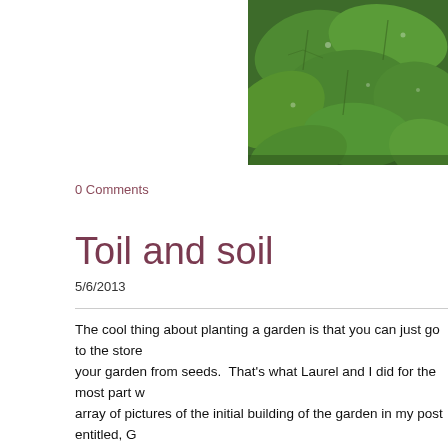[Figure (photo): Close-up photo of green leafy plants (herbs or vegetables) with water droplets on leaves, cropped at top-right of page.]
0 Comments
Toil and soil
5/6/2013
The cool thing about planting a garden is that you can just go to the store and your garden from seeds.  That's what Laurel and I did for the most part w... array of pictures of the initial building of the garden in my post entitled, G... there?).
Of the variety of things we planted there were two that we actually did sta...  We planted the pumpkins first.  The package indicated that it would take...  About two weeks later we planted the green beans and that package sa...  Seven days go by, nothing.  Fourteen days go by, still nothing.  Since w... geographical location we decided to give it some more time.  Was it too...